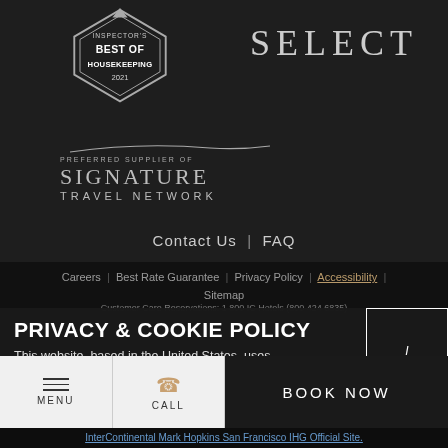[Figure (logo): Inspector's Best of Housekeeping 2021 diamond-shaped badge logo]
[Figure (logo): SELECT logo text in grey serif font]
[Figure (logo): Preferred Supplier of Signature Travel Network logo]
Contact Us  |  FAQ
Careers  |  Best Rate Guarantee  |  Privacy Policy  |  Accessibility  |
Sitemap
Customer Care Reservations: 1 800 IC Hotels (800 424 6835)
PRIVACY & COOKIE POLICY
This website, based in the United States, uses "cookies" to enhance your browsing experience and to allow us to improve our website
I ACCEPT
MENU
CALL
BOOK NOW
InterContinental Mark Hopkins San Francisco IHG Official Site.